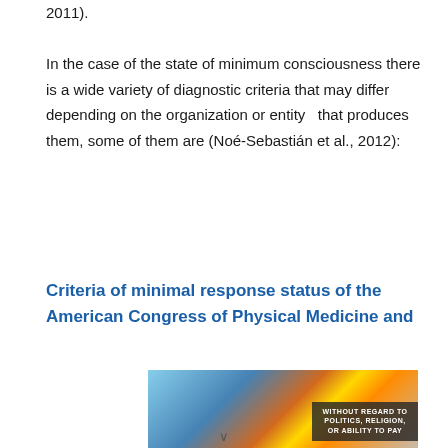2011).

In the case of the state of minimum consciousness there is a wide variety of diagnostic criteria that may differ depending on the organization or entity  that produces them, some of them are (Noé-Sebastián et al., 2012):
Criteria of minimal response status of the American Congress of Physical Medicine and
[Figure (photo): Advertisement banner showing an airplane being loaded with cargo, with text overlay reading 'WITHOUT REGARD TO POLITICS, RELIGION, OR ABILITY TO PAY']